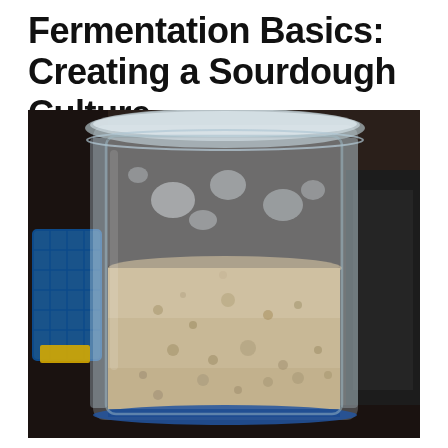Fermentation Basics: Creating a Sourdough Culture
[Figure (photo): A clear plastic deli container with a lid, holding bubbly sourdough starter culture. The starter is a creamy beige color with visible gas bubbles throughout. The top portion of the container above the starter is empty/air space. In the background are kitchen items including a blue wire basket on the left and a dark appliance on the right. The container sits on a dark countertop.]